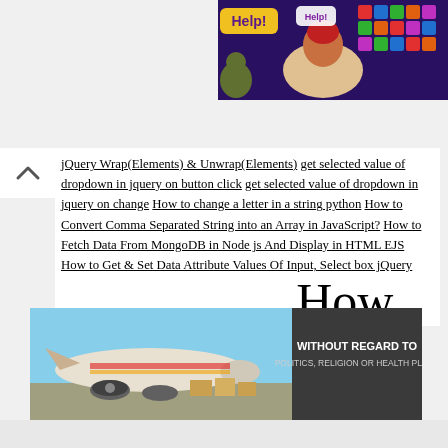[Figure (screenshot): Top right advertisement banner showing a game with 'Help!' text, animated characters and a colorful tile board on purple/dark background]
jQuery Wrap(Elements) & Unwrap(Elements) get selected value of dropdown in jquery on button click get selected value of dropdown in jquery on change How to change a letter in a string python How to Convert Comma Separated String into an Array in JavaScript? How to Fetch Data From MongoDB in Node js And Display in HTML EJS How to Get & Set Data Attribute Values Of Input, Select box jQuery how to get multiple checkbox value in jquery How to Install Apache in Ubuntu
[Figure (photo): Advertisement banner showing an airplane being loaded with cargo, with text 'WITHOUT REGARD TO POLITICS, RELIGION OR HEALTH PLANS']